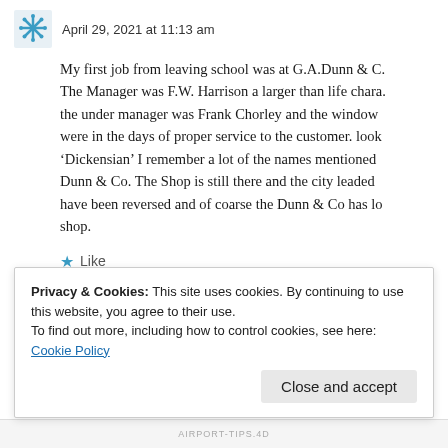April 29, 2021 at 11:13 am
My first job from leaving school was at G.A.Dunn & C. The Manager was F.W. Harrison a larger than life chara. the under manager was Frank Chorley and the window were in the days of proper service to the customer. look 'Dickensian' I remember a lot of the names mentioned Dunn & Co. The Shop is still there and the city leaded have been reversed and of coarse the Dunn & Co has lo shop.
Like
Reply
Privacy & Cookies: This site uses cookies. By continuing to use this website, you agree to their use.
To find out more, including how to control cookies, see here: Cookie Policy
Close and accept